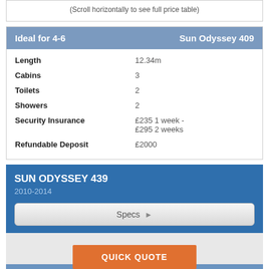(Scroll horizontally to see full price table)
| Ideal for 4-6 | Sun Odyssey 409 |
| --- | --- |
| Length | 12.34m |
| Cabins | 3 |
| Toilets | 2 |
| Showers | 2 |
| Security Insurance | £235 1 week - £295 2 weeks |
| Refundable Deposit | £2000 |
SUN ODYSSEY 439
2010-2014
Specs ▶
| Sun Odyssey 439 (201...) | ...1 Week | 1 Week Offers |
| --- | --- | --- |
QUICK QUOTE